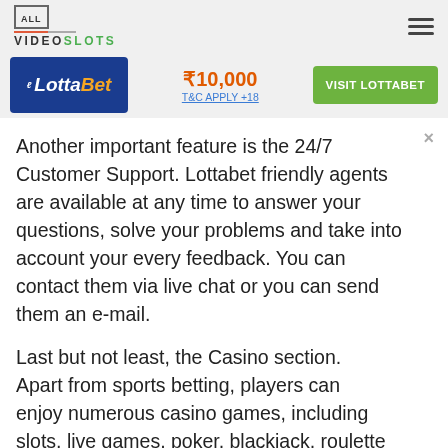ALL VIDEOSLOTS
[Figure (logo): LottaBet casino banner with ₹10,000 bonus and Visit LottaBet button]
Another important feature is the 24/7 Customer Support. Lottabet friendly agents are available at any time to answer your questions, solve your problems and take into account your every feedback. You can contact them via live chat or you can send them an e-mail.
Last but not least, the Casino section. Apart from sports betting, players can enjoy numerous casino games, including slots, live games, poker, blackjack, roulette and more. These games come from only the most re putable software providers that guarantee safety and fai rplay.